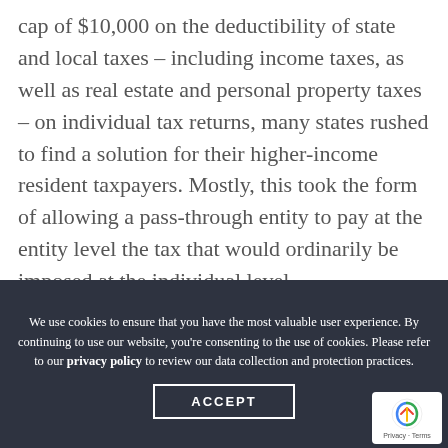cap of $10,000 on the deductibility of state and local taxes – including income taxes, as well as real estate and personal property taxes – on individual tax returns, many states rushed to find a solution for their higher-income resident taxpayers. Mostly, this took the form of allowing a pass-through entity to pay at the entity level the tax that would ordinarily be imposed at the individual level,
We use cookies to ensure that you have the most valuable user experience. By continuing to use our website, you're consenting to the use of cookies. Please refer to our privacy policy to review our data collection and protection practices.